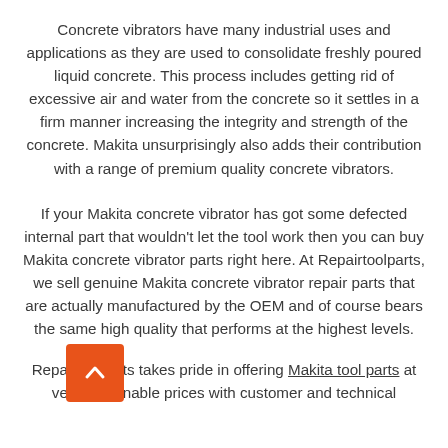Concrete vibrators have many industrial uses and applications as they are used to consolidate freshly poured liquid concrete. This process includes getting rid of excessive air and water from the concrete so it settles in a firm manner increasing the integrity and strength of the concrete. Makita unsurprisingly also adds their contribution with a range of premium quality concrete vibrators.
If your Makita concrete vibrator has got some defected internal part that wouldn't let the tool work then you can buy Makita concrete vibrator parts right here. At Repairtoolparts, we sell genuine Makita concrete vibrator repair parts that are actually manufactured by the OEM and of course bears the same high quality that performs at the highest levels.
Repairtoolparts takes pride in offering Makita tool parts at very reasonable prices with customer and technical